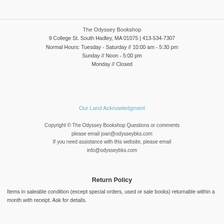The Odyssey Bookshop
9 College St.  South Hadley, MA 01075  |  413-534-7307
Normal Hours: Tuesday - Saturday // 10:00 am - 5:30 pm
Sunday // Noon - 5:00 pm
Monday // Closed
Our Land Acknowledgment
Copyright © The Odyssey Bookshop Questions or comments please email joan@odysseybks.com
If you need assistance with this website, please email info@odysseybks.com
Return Policy
Items in saleable condition (except special orders, used or sale books) returnable within a month with receipt. Ask for details.